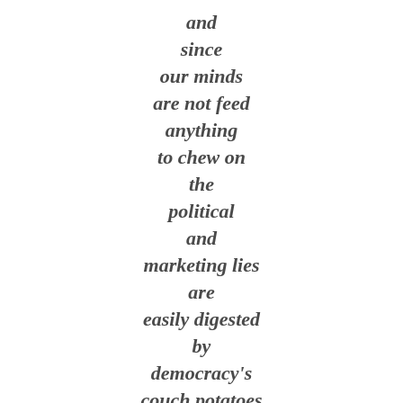and
since
our minds
are not feed
anything
to chew on
the
political
and
marketing lies
are
easily digested
by
democracy's
couch potatoes